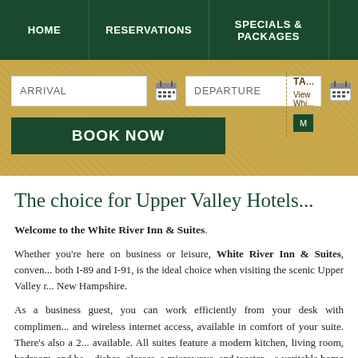HOME | RESERVATIONS | SPECIALS & PACKAGES
[Figure (screenshot): Hotel booking widget with ARRIVAL and DEPARTURE date inputs, calendar icons, and a BOOK NOW button on a tan/gold textured background. Right side shows a partially visible panel with 'TA...' text.]
The choice for Upper Valley Hotels...
Welcome to the White River Inn & Suites.
Whether you're here on business or leisure, White River Inn & Suites, conveniently located near both I-89 and I-91, is the ideal choice when visiting the scenic Upper Valley region of Vermont and New Hampshire.
As a business guest, you can work efficiently from your desk with complimentary high-speed and wireless internet access, available in comfort of your suite. There's also a 24-hour business center available. All suites feature a modern kitchen, living room, bedroom, and bathroom complete with dishes, glasses, a microwave, and toaster – a veritable home away from home. We are located near Dartmouth College, Dartmouth Hitchcock Medical Center, as well as the many area attractions.